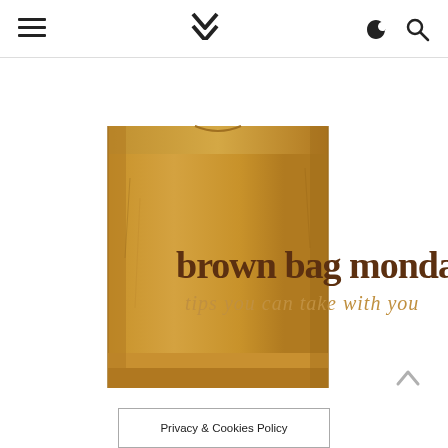≡  ❯❯  ☾  🔍
[Figure (illustration): Brown paper bag with text 'brown bag mondays' in dark brown serif-like font and 'tips you can take with you' in gold italic script font, on a white background.]
Privacy & Cookies Policy